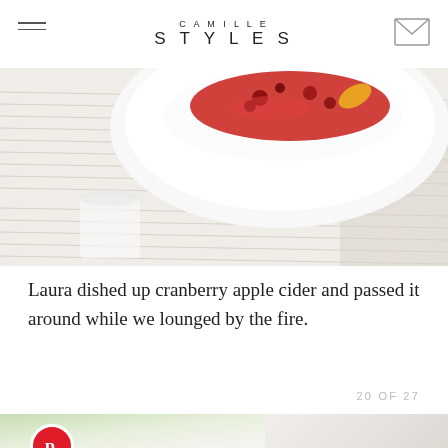CAMILLE STYLES
[Figure (photo): Close-up photograph of a white bowl filled with cranberry apple cider on a striped linen cloth]
Laura dished up cranberry apple cider and passed it around while we lounged by the fire.
20 OF 27
[Figure (photo): Bottom portion showing two partial images: green bokeh on the left with a Pinterest button overlay, and a white ceramic dish on the right]